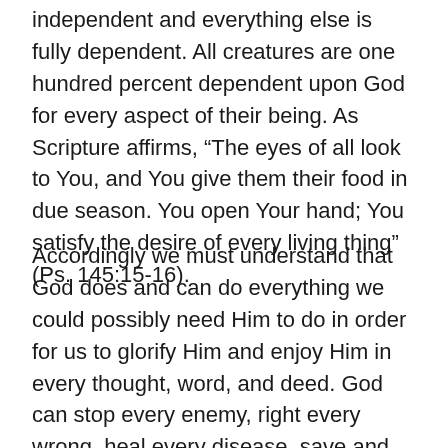independent and everything else is fully dependent. All creatures are one hundred percent dependent upon God for every aspect of their being. As Scripture affirms, “The eyes of all look to You, and You give them their food in due season. You open Your hand; You satisfy the desire of every living thing” (Ps. 145:15-16).
Accordingly we must understand that God does and can do everything we could possibly need Him to do in order for us to glorify Him and enjoy Him in every thought, word, and deed. God can stop every enemy, right every wrong, heal every disease, save and protect all of His elect. God can do whatever He wants. No power can stop Him, for in